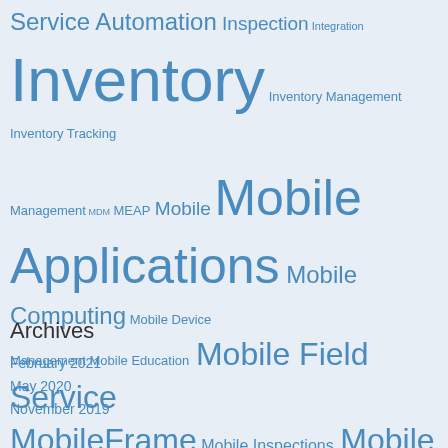[Figure (infographic): Tag cloud with terms related to mobile field service software in varying font sizes and shades of blue on a light blue-gray background. Terms include: Service Automation, Inspection, Integration, Inventory, Inventory Management, Inventory Tracking, Management, MDM, MEAP, Mobile, Mobile Applications, Mobile Computing, Mobile Device Management, Mobile Education, Mobile Field Service, MobileFrame, Mobile Inspections, Mobile Work Orders, Paper, Paperless, Paperless Enterprise, Proof of Delivery, ROI, Service, tracking, Updates, Webinar, Windows Mobile, Work Orders.]
Archives
February 2021
May 2020
November 2019